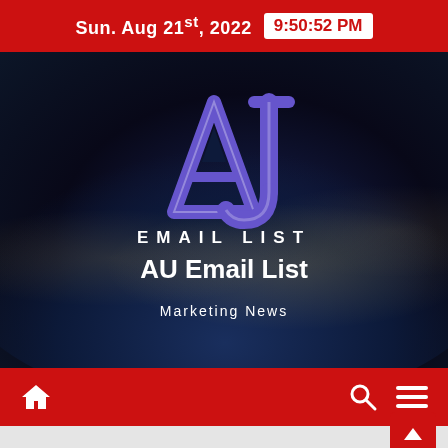Sun. Aug 21st, 2022  9:50:52 PM
[Figure (logo): AJ Email List logo with purple stylized A and J letters, text 'EMAIL LIST' below in white caps, 'AU Email List' below that in white bold, 'Marketing News' subtitle, all on dark blue/black space-earth background]
Navigation bar with home icon, search icon, and menu icon